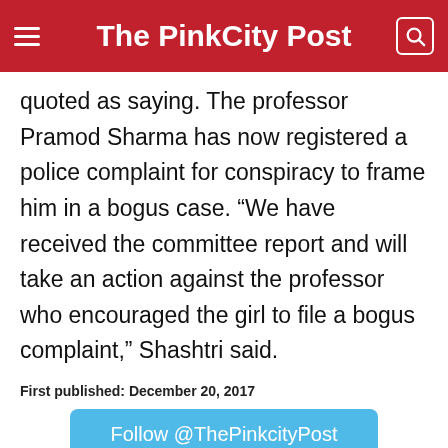The PinkCity Post
quoted as saying. The professor Pramod Sharma has now registered a police complaint for conspiracy to frame him in a bogus case. “We have received the committee report and will take an action against the professor who encouraged the girl to file a bogus complaint,” Shashtri said.
First published: December 20, 2017
Follow @ThePinkcityPost
[Figure (other): Social media share icons: Twitter (blue circle), Facebook (dark blue circle), WhatsApp (green circle)]